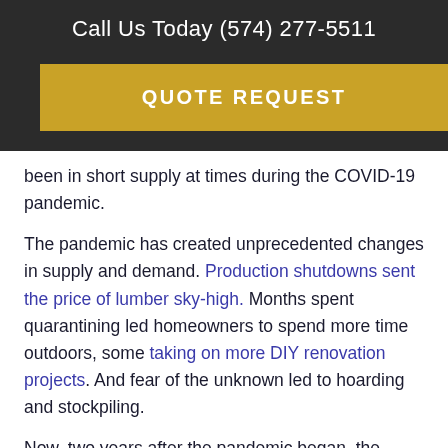Call Us Today (574) 277-5511
QUOTE REQUEST
been in short supply at times during the COVID-19 pandemic.
The pandemic has created unprecedented changes in supply and demand. Production shutdowns sent the price of lumber sky-high. Months spent quarantining led homeowners to spend more time outdoors, some taking on more DIY renovation projects. And fear of the unknown led to hoarding and stockpiling.
Now, two years after the pandemic began, the global